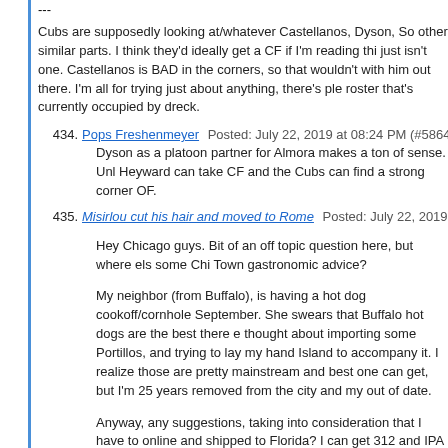---
Cubs are supposedly looking at/whatever Castellanos, Dyson, So other similar parts. I think they'd ideally get a CF if I'm reading thi just isn't one. Castellanos is BAD in the corners, so that wouldn't with him out there. I'm all for trying just about anything, there's ple roster that's currently occupied by dreck.
434. Pops Freshenmeyer Posted: July 22, 2019 at 08:24 PM (#5864026 Dyson as a platoon partner for Almora makes a ton of sense. Unl Heyward can take CF and the Cubs can find a strong corner OF.
435. Misirlou cut his hair and moved to Rome Posted: July 22, 2019 at Hey Chicago guys. Bit of an off topic question here, but where els some Chi Town gastronomic advice?
My neighbor (from Buffalo), is having a hot dog cookoff/cornhole September. She swears that Buffalo hot dogs are the best there e thought about importing some Portillos, and trying to lay my hand Island to accompany it. I realize those are pretty mainstream and best one can get, but I'm 25 years removed from the city and my out of date.
Anyway, any suggestions, taking into consideration that I have to online and shipped to Florida? I can get 312 and IPA in my local g free to e-mail me through my profile so as to not pollute the threa
*Last year was a chili cook off, which I won, and I am determined
436. Brian C Posted: July 23, 2019 at 12:07 AM (#5864078)